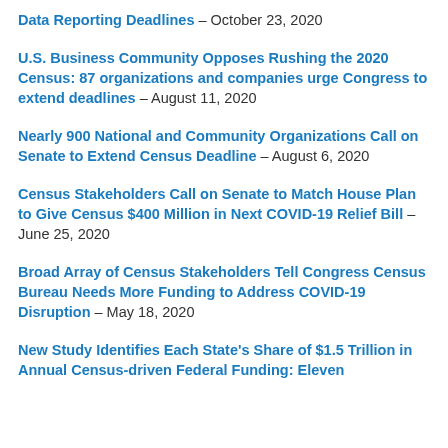Data Reporting Deadlines – October 23, 2020
U.S. Business Community Opposes Rushing the 2020 Census: 87 organizations and companies urge Congress to extend deadlines – August 11, 2020
Nearly 900 National and Community Organizations Call on Senate to Extend Census Deadline – August 6, 2020
Census Stakeholders Call on Senate to Match House Plan to Give Census $400 Million in Next COVID-19 Relief Bill – June 25, 2020
Broad Array of Census Stakeholders Tell Congress Census Bureau Needs More Funding to Address COVID-19 Disruption – May 18, 2020
New Study Identifies Each State's Share of $1.5 Trillion in Annual Census-driven Federal Funding: Eleven